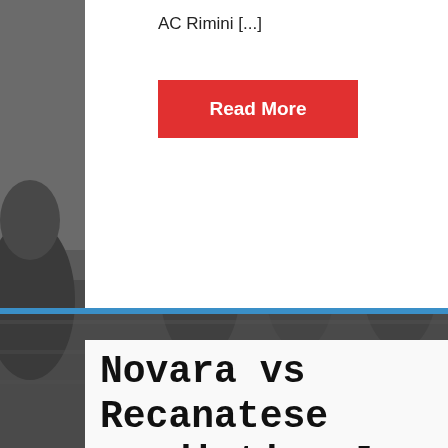AC Rimini [...]
Read More
Novara vs Recanatese prediction Jun 11, 2022